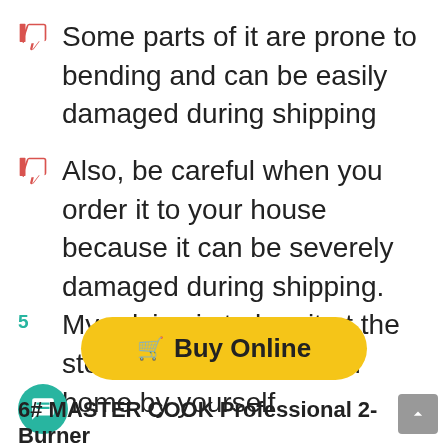Some parts of it are prone to bending and can be easily damaged during shipping
Also, be careful when you order it to your house because it can be severely damaged during shipping. My advice is to buy it at the store and bring it to your home by yourself
Buy Online
6# MASTER COOK Professional 2-Burner